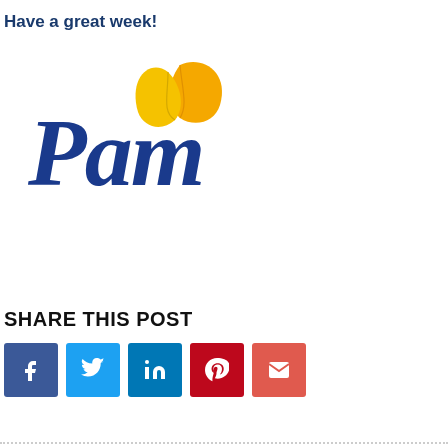Have a great week!
[Figure (logo): Pam brand logo — cursive blue 'Pam' text with yellow-orange leaf graphic to the upper right]
SHARE THIS POST
[Figure (infographic): Row of five social share buttons: Facebook, Twitter, LinkedIn, Pinterest, Email]